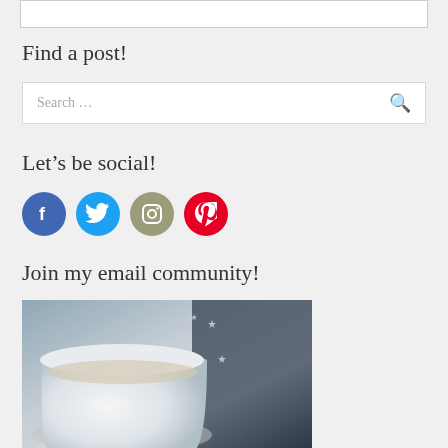[Figure (other): Top partial white box/image placeholder]
Find a post!
Search …
Let's be social!
[Figure (other): Four social media icons: Facebook (blue circle with f), Twitter (light blue circle with bird), Instagram (tan/grey circle with camera), Pinterest (red circle with P logo)]
Join my email community!
[Figure (photo): Photo of a white coffee mug with dark background showing a starry/patterned fabric]